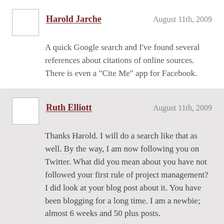Harold Jarche
August 11th, 2009
A quick Google search and I’ve found several references about citations of online sources. There is even a “Cite Me” app for Facebook.
Ruth Elliott
August 11th, 2009
Thanks Harold. I will do a search like that as well. By the way, I am now following you on Twitter. What did you mean about you have not followed your first rule of project management? I did look at your blog post about it. You have been blogging for a long time. I am a newbie; almost 6 weeks and 50 plus posts.